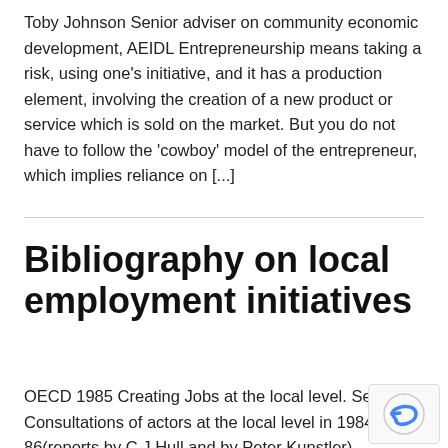Toby Johnson Senior adviser on community economic development, AEIDL Entrepreneurship means taking a risk, using one's initiative, and it has a production element, involving the creation of a new product or service which is sold on the market. But you do not have to follow the 'cowboy' model of the entrepreneur, which implies reliance on [...]
Bibliography on local employment initiatives
OECD 1985 Creating Jobs at the local level. Series of Consultations of actors at the local level in 1984-86(reports by C.J Hull and by Peter Kunstler) POVERTY